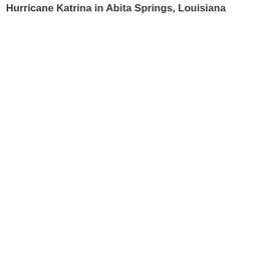Hurricane Katrina in Abita Springs, Louisiana